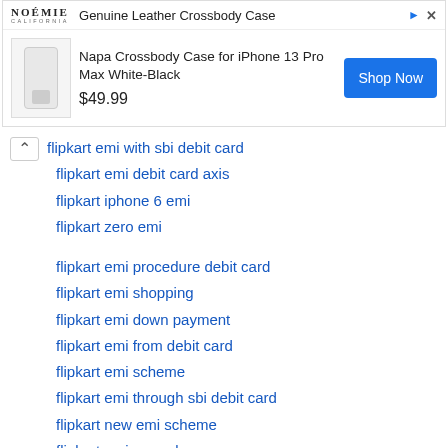[Figure (screenshot): Advertisement banner for NOEMIE Genuine Leather Crossbody Case showing Napa Crossbody Case for iPhone 13 Pro Max White-Black priced at $49.99 with a Shop Now button]
flipkart emi with sbi debit card
flipkart emi debit card axis
flipkart iphone 6 emi
flipkart zero emi
flipkart emi procedure debit card
flipkart emi shopping
flipkart emi down payment
flipkart emi from debit card
flipkart emi scheme
flipkart emi through sbi debit card
flipkart new emi scheme
flipkart emi procedure
flipkart emi on axis debit card
flipkart emi axis bank debit card
flipkart emi rules
flipkart emi query